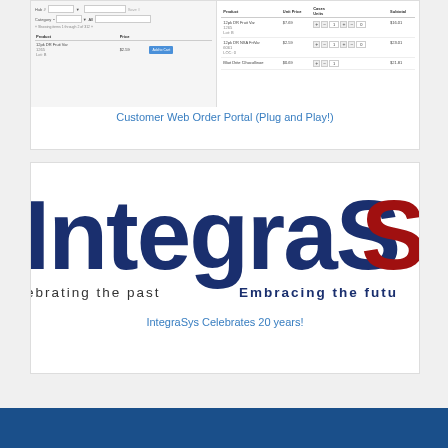[Figure (screenshot): Customer Web Order Portal screenshot showing product search/filter interface on left and shopping cart with products, unit prices, case units, quantities and subtotals on right]
Customer Web Order Portal (Plug and Play!)
[Figure (logo): IntegraSys logo with dark navy blue text 'IntegraS' (partially cropped) and red 'S', with tagline 'ebrating the past  Embracing the futu' (partially cropped on both sides)]
IntegraSys Celebrates 20 years!